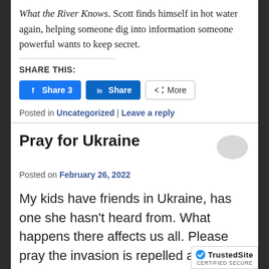What the River Knows. Scott finds himself in hot water again, helping someone dig into information someone powerful wants to keep secret.
SHARE THIS:
[Figure (other): Social share buttons: Facebook Share 3, LinkedIn Share, More]
Posted in Uncategorized | Leave a reply
Pray for Ukraine
Posted on February 26, 2022
My kids have friends in Ukraine, has one she hasn't heard from. What happens there affects us all. Please pray the invasion is repelled and th...